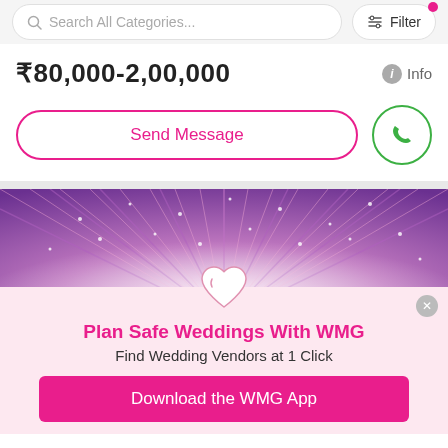Search All Categories... | Filter
₹80,000-2,00,000
Info
Send Message
[Figure (photo): Decorative event/wedding venue with pink and purple radiating fabric canopy and string lights]
Plan Safe Weddings With WMG
Find Wedding Vendors at 1 Click
Download the WMG App